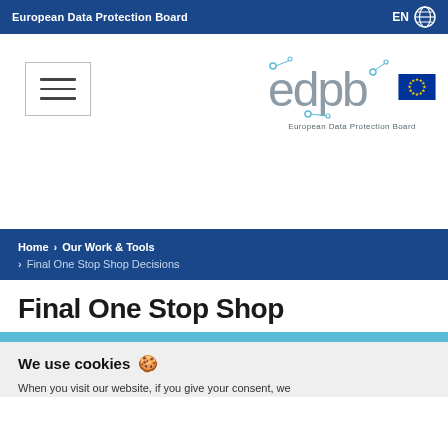European Data Protection Board | EN
[Figure (logo): Hamburger menu icon (three horizontal lines) in a bordered box]
[Figure (logo): EDPB logo with EU flag and text 'European Data Protection Board']
Home > Our Work & Tools > Final One Stop Shop Decisions
Final One Stop Shop
We use cookies 🍪 When you visit our website, if you give your consent, we